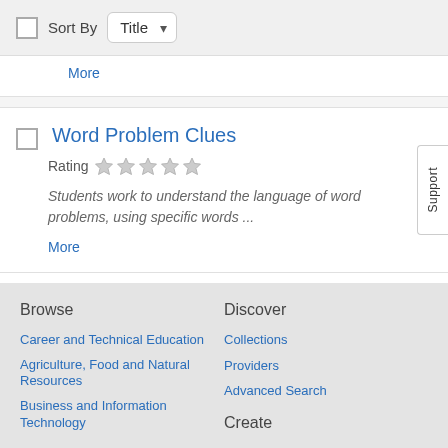Sort By Title
More
Word Problem Clues
Rating (5 stars empty)
Students work to understand the language of word problems, using specific words ...
More
Browse
Career and Technical Education
Agriculture, Food and Natural Resources
Business and Information Technology
Discover
Collections
Providers
Advanced Search
Create